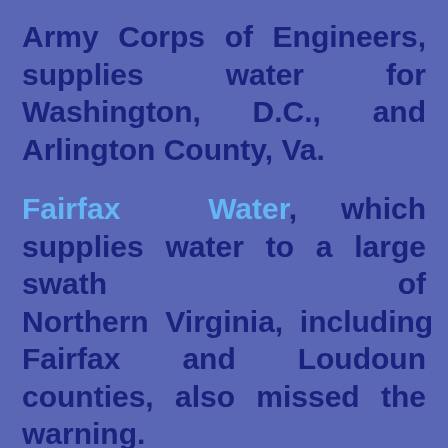Army Corps of Engineers, supplies water for Washington, D.C., and Arlington County, Va.
Fairfax Water, which supplies water to a large swath of Northern Virginia, including Fairfax and Loudoun counties, also missed the warning.
“We do not have a record of being notified of that spill,” said